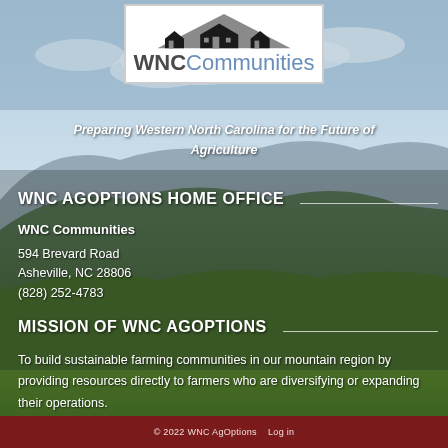[Figure (logo): WNC Communities logo with silhouette of houses and mountains above text reading WNC Communities]
Preparing Western North Carolina for the Future of Agriculture
WNC AGOPTIONS HOME OFFICE
WNC Communities
594 Brevard Road
Asheville, NC 28806
(828) 252-4783
MISSION OF WNC AGOPTIONS
To build sustainable farming communities in our mountain region by providing resources directly to farmers who are diversifying or expanding their operations.
© 2022 WNC AgOptions   Log in